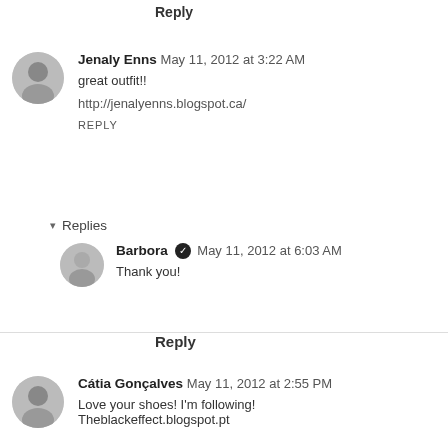Reply
Jenaly Enns  May 11, 2012 at 3:22 AM
great outfit!!
http://jenalyenns.blogspot.ca/
REPLY
▾  Replies
Barbora ✔  May 11, 2012 at 6:03 AM
Thank you!
Reply
Cátia Gonçalves  May 11, 2012 at 2:55 PM
Love your shoes! I'm following!
Theblackeffect.blogspot.pt